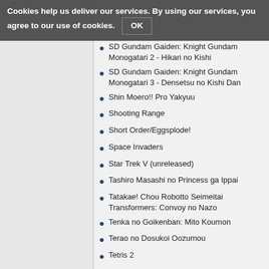Cookies help us deliver our services. By using our services, you agree to our use of cookies. OK
SD Gundam Gaiden: Knight Gundam Monogatari 2 - Hikari no Kishi
SD Gundam Gaiden: Knight Gundam Monogatari 3 - Densetsu no Kishi Dan
Shin Moero!! Pro Yakyuu
Shooting Range
Short Order/Eggsplode!
Space Invaders
Star Trek V (unreleased)
Tashiro Masashi no Princess ga Ippai
Tatakae! Chou Robotto Seimeitai Transformers: Convoy no Nazo
Tenka no Goikenban: Mito Koumon
Terao no Dosukoi Oozumou
Tetris 2
Toxic Crusaders
U-Force Demo Game (unreleased)